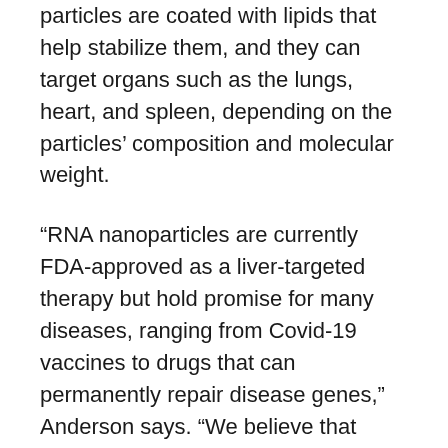particles are coated with lipids that help stabilize them, and they can target organs such as the lungs, heart, and spleen, depending on the particles' composition and molecular weight.
“RNA nanoparticles are currently FDA-approved as a liver-targeted therapy but hold promise for many diseases, ranging from Covid-19 vaccines to drugs that can permanently repair disease genes,” Anderson says. “We believe that engineering nanoparticles to deliver RNA to different types of cells and organs in the body is key to reaching the broadest potential of genetic therapy.”
In the new study, the researchers set out to adapt the particles so that they could reach the bone marrow. The bone marrow contains stem cells that produce many different types of blood cells, through a process called